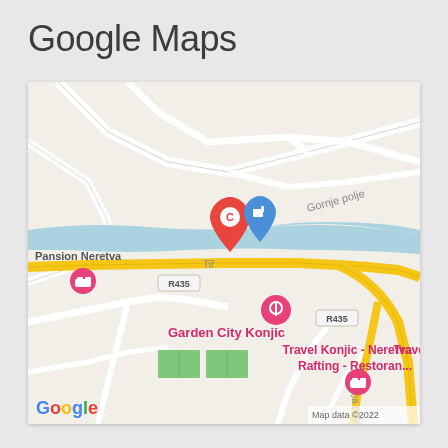Google Maps
[Figure (map): Google Maps screenshot showing Konjic area in Bosnia and Herzegovina. The map displays the Neretva river (blue), road R435 (yellow), and several landmarks: a red pin marker labeled 'C', a blue gas station marker, 'Pansion Neretva' with a pink accommodation icon, 'Garden City Konjic' with a pink dining/activity icon, 'Travel Konjic - Neretva Rafting - Restoran...' with a pink accommodation icon. Road labels: R435, Gornje polje, Trbića polje. Green sports fields visible. Google logo in bottom left corner, 'Map data ©2022' in bottom right.]